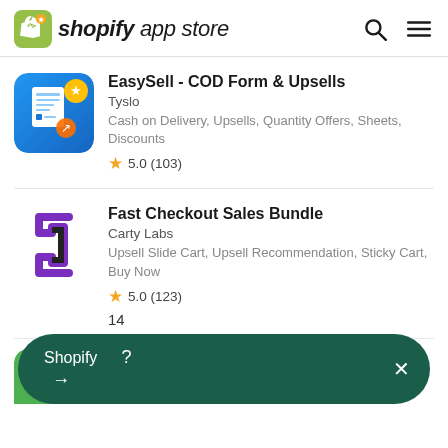shopify app store
EasySell - COD Form & Upsells | Tyslo | Cash on Delivery, Upsells, Quantity Offers, Sheets, Discounts | 5.0 (103)
Fast Checkout Sales Bundle | Carty Labs | Upsell Slide Cart, Upsell Recommendation, Sticky Cart, Buy Now | 5.0 (123) | 14
Boost sales & conversion with APP TO...